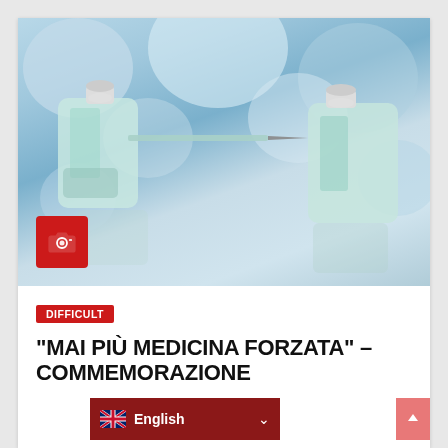[Figure (photo): Close-up photo of medical vaccine vials and syringes on a reflective surface with blurred blue bokeh background. A red camera icon badge is overlaid in the bottom-left corner of the image.]
DIFFICULT
“MAI PIÙ MEDICINA FORZATA” – COMMEMORAZIONE